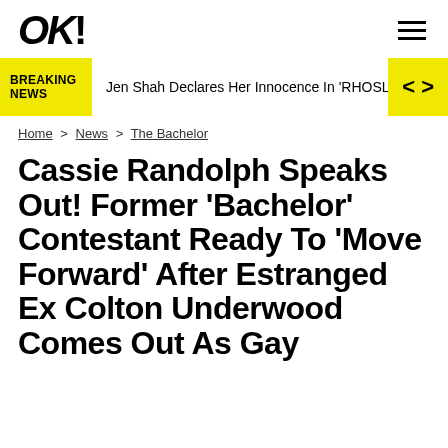OK!
BREAKING NEWS | Jen Shah Declares Her Innocence In 'RHOSLC
Home > News > The Bachelor
Cassie Randolph Speaks Out! Former 'Bachelor' Contestant Ready To 'Move Forward' After Estranged Ex Colton Underwood Comes Out As Gay